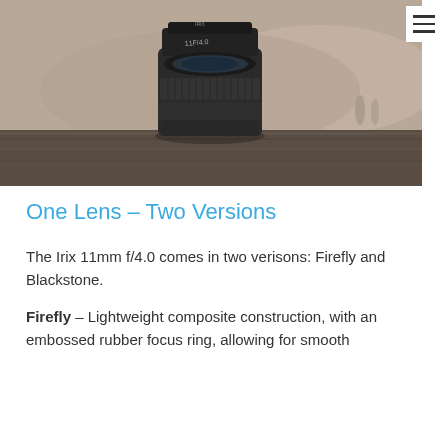[Figure (photo): Sepia-toned photograph of an Irix 11mm f/4.0 camera lens sitting on a wooden surface with a blurred mountain landscape in the background]
One Lens – Two Versions
The Irix 11mm f/4.0 comes in two verisons: Firefly and Blackstone.
Firefly – Lightweight composite construction, with an embossed rubber focus ring, allowing for smooth